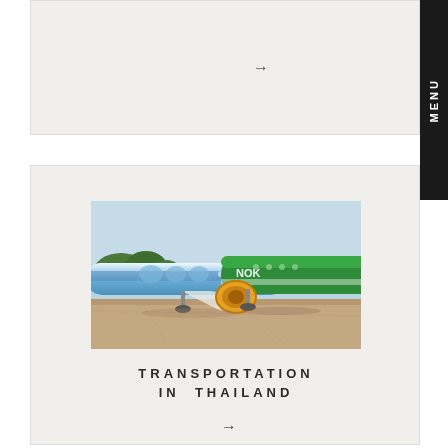[Figure (photo): Partial card at top showing an arrow/link element on a light beige background]
[Figure (photo): Colorful airplanes on a tarmac — a blue and white aircraft alongside a green aircraft with yellow engine, parked on airport ground with trees in background]
TRANSPORTATION IN THAILAND
MENU